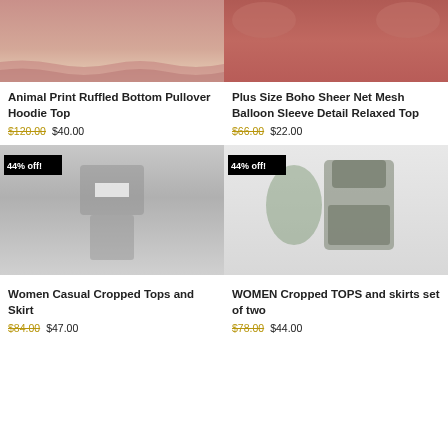[Figure (photo): Animal print ruffled bottom pullover hoodie top - pink/mauve color, partial view from waist up]
Animal Print Ruffled Bottom Pullover Hoodie Top
$120.00  $40.00
[Figure (photo): Plus Size Boho Sheer Net Mesh Balloon Sleeve Detail Relaxed Top - rust/coral color, upper body view]
Plus Size Boho Sheer Net Mesh Balloon Sleeve Detail Relaxed Top
$66.00  $22.00
[Figure (photo): Women Casual Cropped Tops and Skirt - dark grey/charcoal set on mannequin, 44% off badge]
Women Casual Cropped Tops and Skirt
$84.00  $47.00
[Figure (photo): WOMEN Cropped TOPS and skirts set of two - dark grey/charcoal, worn by model, 44% off badge]
WOMEN Cropped TOPS and skirts set of two
$78.00  $44.00